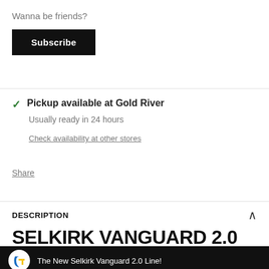×
Wanna be friends?
Subscribe
Pickup available at Gold River
Usually ready in 24 hours
Check availability at other stores
Share
DESCRIPTION
SELKIRK VANGUARD 2.0 S2 PICKLEBALL PADDLE
[Figure (screenshot): Video thumbnail bar with logo and text 'The New Selkirk Vanguard 2.0 Line!']